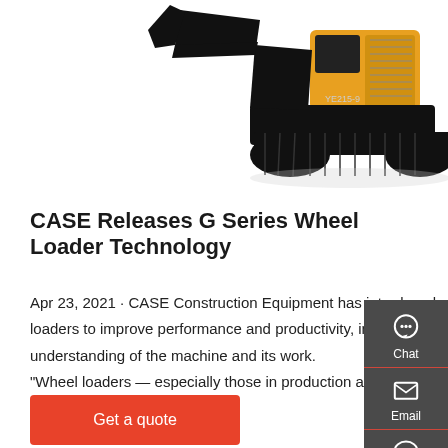[Figure (photo): Yellow and black CASE excavator/wheel loader construction equipment on white background]
CASE Releases G Series Wheel Loader Technology
Apr 23, 2021 · CASE Construction Equipment has introduced comprehensive enhancements to its entire line of G Series wheel loaders to improve performance and productivity, increase uptime, and empower the operator with greater control and understanding of the machine and its work. "Wheel loaders — especially those in production and heavy working environments — achieve significant improvements in
[Figure (infographic): Side panel with Chat, Email, and Contact buttons on dark grey background]
Get a quote